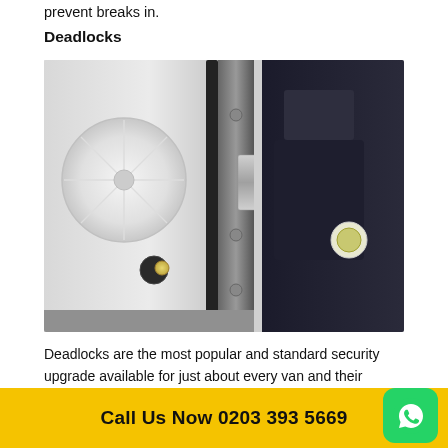prevent breaks in.
Deadlocks
[Figure (photo): Close-up photo of a van deadlock mechanism showing the lock cylinder keyhole on the left door panel and the deadlock bolt/striker plate in the center between two white van doors]
Deadlocks are the most popular and standard security upgrade available for just about every van and their various doors in the UK marketplace.
Deadlock is composed of two parts fitted to the van do...
Call Us Now 0203 393 5669